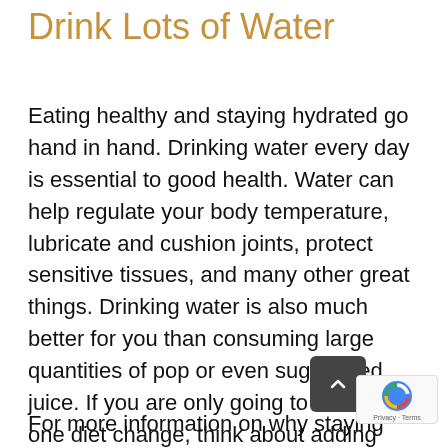Drink Lots of Water
Eating healthy and staying hydrated go hand in hand. Drinking water every day is essential to good health. Water can help regulate your body temperature, lubricate and cushion joints, protect sensitive tissues, and many other great things. Drinking water is also much better for you than consuming large quantities of pop or even sugar-filled juice. If you are only going to commit to one diet change, think about adding more water to your day.
For more information on why staying